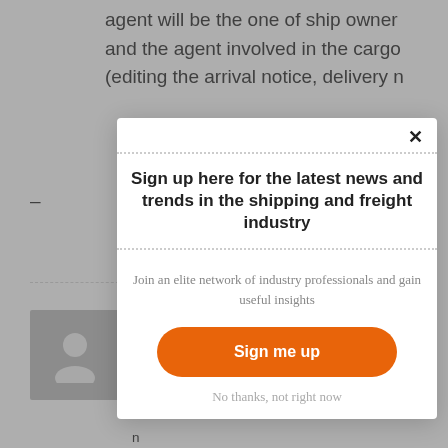agent will be the one of ship owner and the agent involved in the cargo (editing the arrival notice, delivery n
[Figure (illustration): User avatar placeholder - grey silhouette icon on grey background]
S
T
P
A
C
n
Sh
Sign up here for the latest news and trends in the shipping and freight industry
Join an elite network of industry professionals and gain useful insights
Sign me up
No thanks, not right now